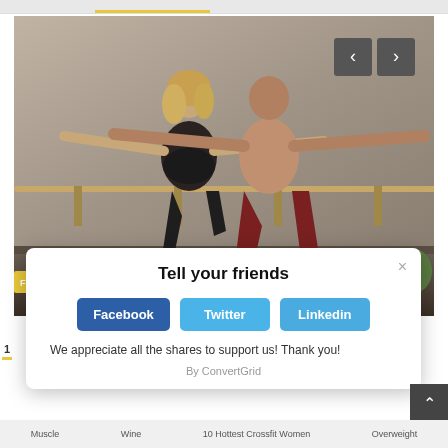[Figure (photo): Two people practicing yoga/barre fitness in a studio. A woman in black sports bra and leggings extends her arms wide in a warrior pose, and a shirtless man in dark red pants mirrors her pose behind her. Navigation arrows (< >) appear in the top right of the image. A yellow 'Fitness & Training' badge is on the lower left.]
Tell your friends
Facebook
Twitter
Linkedin
We appreciate all the shares to support us! Thank you!
By ConvertGrid
Muscle   Wine   10 Hottest Crossfit Women   Overweight